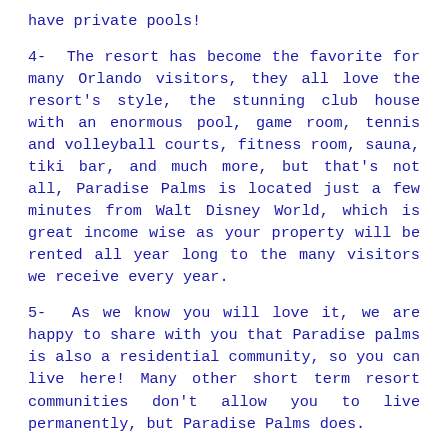have private pools!
4- The resort has become the favorite for many Orlando visitors, they all love the resort's style, the stunning club house with an enormous pool, game room, tennis and volleyball courts, fitness room, sauna, tiki bar, and much more, but that's not all, Paradise Palms is located just a few minutes from Walt Disney World, which is great income wise as your property will be rented all year long to the many visitors we receive every year.
5- As we know you will love it, we are happy to share with you that Paradise palms is also a residential community, so you can live here! Many other short term resort communities don't allow you to live permanently, but Paradise Palms does.
6- There are properties ready for you to buy, or select the homesite you like the most and Lennar will built it, it will be ready within 4 to 6 months. At